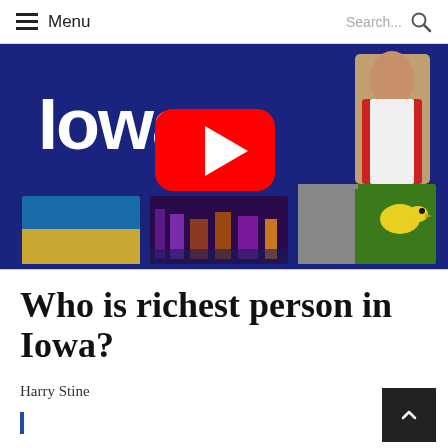Menu | Search...
[Figure (illustration): Iowa for Kids banner with YouTube play button overlay and three small photos at bottom (field, city skyline, bird)]
Who is richest person in Iowa?
Harry Stine